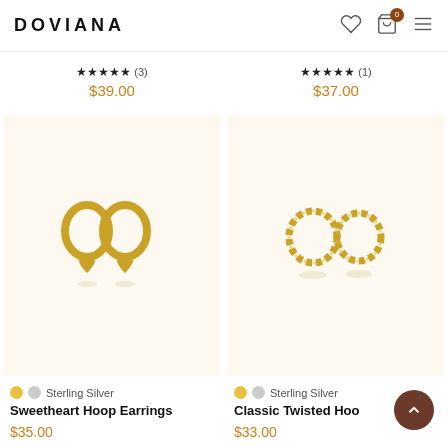DOVIANA
★★★★★ (3) $39.00
★★★★★ (1) $37.00
[Figure (photo): Gold sweetheart hoop earrings with heart charm pendants on cream background]
[Figure (photo): Gold classic twisted hoop earrings on cream background]
● ● Sterling Silver
Sweetheart Hoop Earrings
$35.00
● ● Sterling Silver
Classic Twisted Hoo…
$33.00